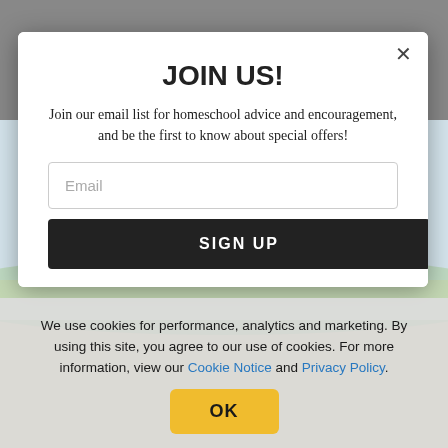[Figure (logo): Sonlight logo with sun icon and text SONLIGHT in dark blue]
[Figure (screenshot): Email signup modal popup with JOIN US! title, email input field, and SIGN UP button. Background shows a photo of a woman and child in a field.]
JOIN US!
Join our email list for homeschool advice and encouragement, and be the first to know about special offers!
Email
SIGN UP
We use cookies for performance, analytics and marketing. By using this site, you agree to our use of cookies. For more information, view our Cookie Notice and Privacy Policy.
OK
Practice handwriting as needed
Then there's plenty of room for enrichment and electives: foreign language, arts, music, etc.